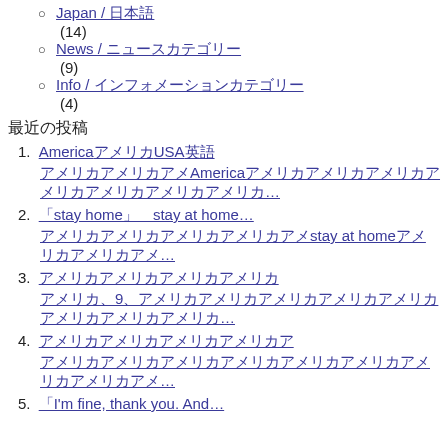Japan / 日本語 (14)
News / ニュースカテゴリー (9)
Info / インフォメーションカテゴリー (4)
最近の投稿
1. AmericaアメリカUSA英語 — アメリカアメリカアメリカAmericaアメリカアメリカアメリカアメリカアメリカアメリカアメリカ…
2. 「stay home」「stay at home… — アメリカアメリカアメリカアメリカアメリカstay at homeアメリカアメリカ…
3. アメリカアメリカアメリカアメリカアメリカ — アメリカ9アメリカアメリカアメリカアメリカアメリカアメリカアメリカアメリカ…
4. アメリカアメリカアメリカアメリカアメリカ — アメリカアメリカアメリカアメリカアメリカアメリカアメリカアメリカアメリカ…
5. 「I'm fine, thank you. And…